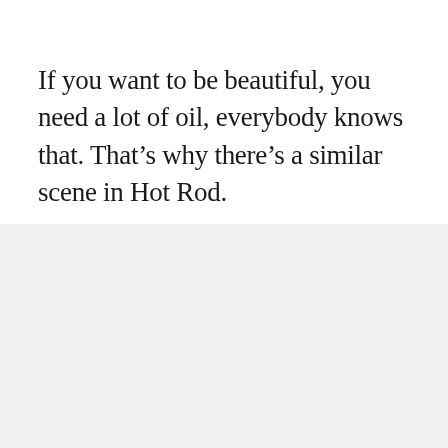If you want to be beautiful, you need a lot of oil, everybody knows that. That’s why there’s a similar scene in Hot Rod.